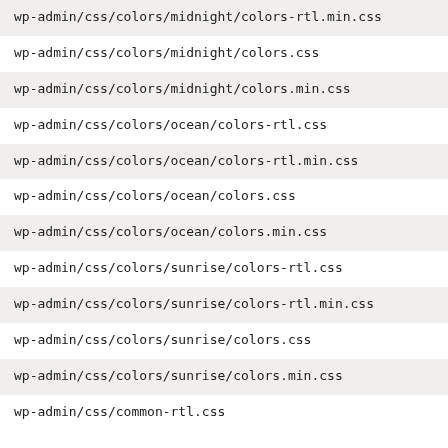wp-admin/css/colors/midnight/colors-rtl.min.css
wp-admin/css/colors/midnight/colors.css
wp-admin/css/colors/midnight/colors.min.css
wp-admin/css/colors/ocean/colors-rtl.css
wp-admin/css/colors/ocean/colors-rtl.min.css
wp-admin/css/colors/ocean/colors.css
wp-admin/css/colors/ocean/colors.min.css
wp-admin/css/colors/sunrise/colors-rtl.css
wp-admin/css/colors/sunrise/colors-rtl.min.css
wp-admin/css/colors/sunrise/colors.css
wp-admin/css/colors/sunrise/colors.min.css
wp-admin/css/common-rtl.css